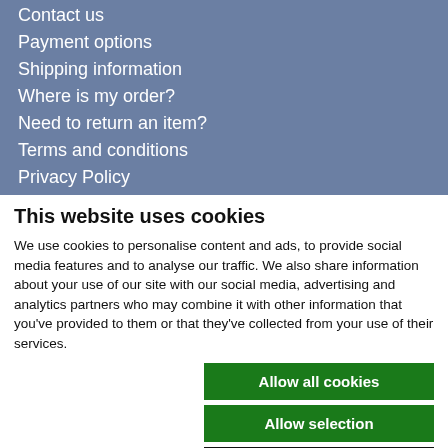Contact us
Payment options
Shipping information
Where is my order?
Need to return an item?
Terms and conditions
Privacy Policy
Opening hours
This website uses cookies
We use cookies to personalise content and ads, to provide social media features and to analyse our traffic. We also share information about your use of our site with our social media, advertising and analytics partners who may combine it with other information that you've provided to them or that they've collected from your use of their services.
Allow all cookies
Allow selection
Use necessary cookies only
Necessary  Preferences  Statistics  Marketing  Show details